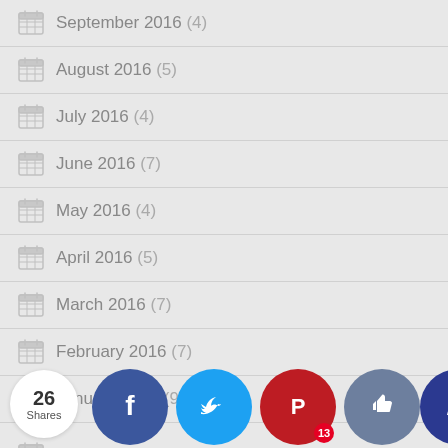September 2016 (4)
August 2016 (5)
July 2016 (4)
June 2016 (7)
May 2016 (4)
April 2016 (5)
March 2016 (7)
February 2016 (7)
January 2016 (9)
December 2016 (13)
[Figure (infographic): Social share bar with 26 Shares badge, Facebook, Twitter, Pinterest (13), Like, and Crown buttons]